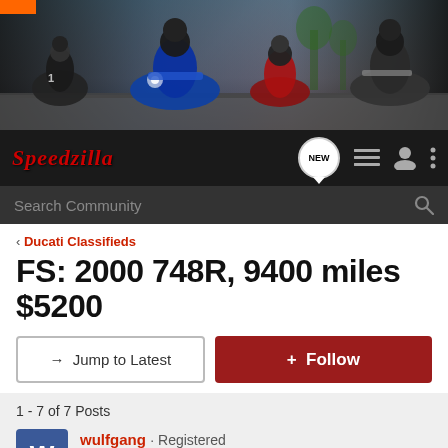[Figure (photo): Motorcycle racing banner with multiple riders on sport bikes against a track/outdoor background]
Speedzilla — NEW, list icon, user icon, menu icon, Search Community
< Ducati Classifieds
FS: 2000 748R, 9400 miles $5200
→ Jump to Latest   + Follow
1 - 7 of 7 Posts
wulfgang · Registered
Joined Oct 27, 2009 · 4 Posts